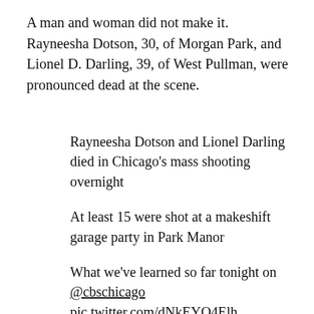A man and woman did not make it. Rayneesha Dotson, 30, of Morgan Park, and Lionel D. Darling, 39, of West Pullman, were pronounced dead at the scene.
Rayneesha Dotson and Lionel Darling died in Chicago's mass shooting overnight
At least 15 were shot at a makeshift garage party in Park Manor
What we've learned so far tonight on @cbschicago pic.twitter.com/dNkEYO4Elh
– Marissa Parra (@MarParNews) March 14, 2021